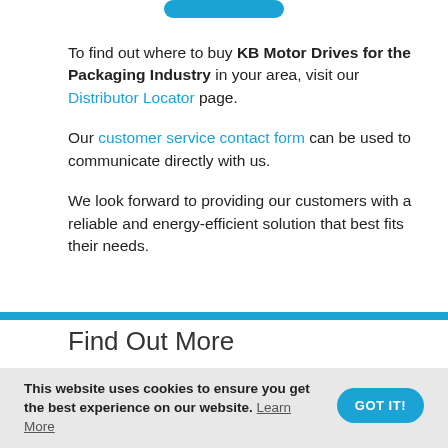[Figure (other): Partially visible blue rounded button at top of page]
To find out where to buy KB Motor Drives for the Packaging Industry in your area, visit our Distributor Locator page.
Our customer service contact form can be used to communicate directly with us.
We look forward to providing our customers with a reliable and energy-efficient solution that best fits their needs.
Find Out More
This website uses cookies to ensure you get the best experience on our website. Learn More